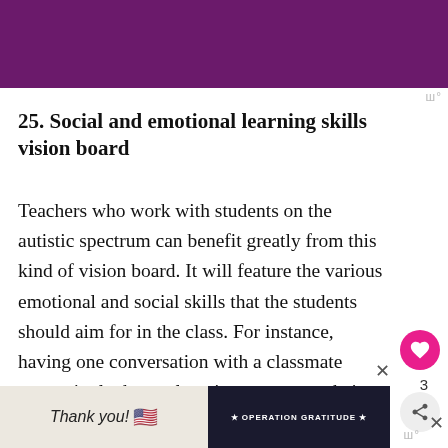[Figure (photo): Purple/magenta banner image at the top of the page]
25. Social and emotional learning skills vision board
Teachers who work with students on the autistic spectrum can benefit greatly from this kind of vision board. It will feature the various emotional and social skills that the students should aim for in the class. For instance, having one conversation with a classmate every single day, or learning to express their feelings towards their family
[Figure (photo): Advertisement banner at the bottom showing 'Thank you!' text with flag and Operation Gratitude charity advertisement]